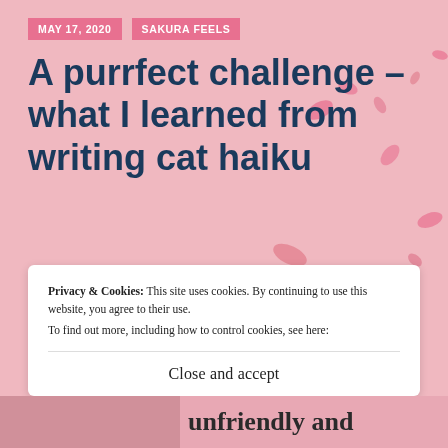MAY 17, 2020   SAKURA FEELS
A purrfect challenge – what I learned from writing cat haiku
This is how this essay starts – I don't have a cat. I never had one. In fact, I wasn't even allowed near cats.
Privacy & Cookies: This site uses cookies. By continuing to use this website, you agree to their use.
To find out more, including how to control cookies, see here:
Close and accept
unfriendly and